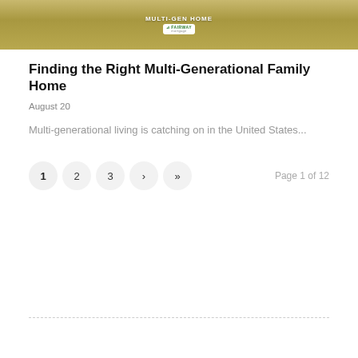[Figure (photo): Photo of a multi-generational family outdoors on grass, with a Fairway Mortgage MULTI-GEN HOME sign/badge overlay in the center]
Finding the Right Multi-Generational Family Home
August 20
Multi-generational living is catching on in the United States...
1 2 3 › »  Page 1 of 12